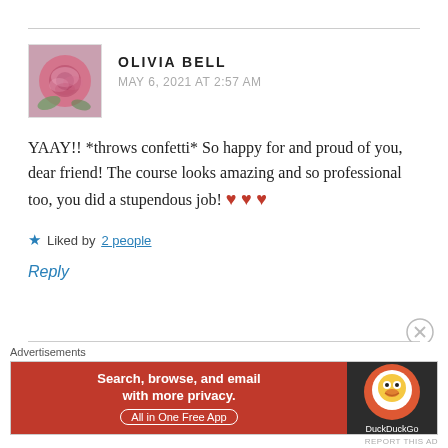OLIVIA BELL
MAY 6, 2021 AT 2:57 AM
YAAY!! *throws confetti* So happy for and proud of you, dear friend! The course looks amazing and so professional too, you did a stupendous job! ❤ ❤ ❤
★ Liked by 2 people
Reply
Advertisements
[Figure (screenshot): DuckDuckGo advertisement banner: orange section with text 'Search, browse, and email with more privacy. All in One Free App', dark section with DuckDuckGo logo]